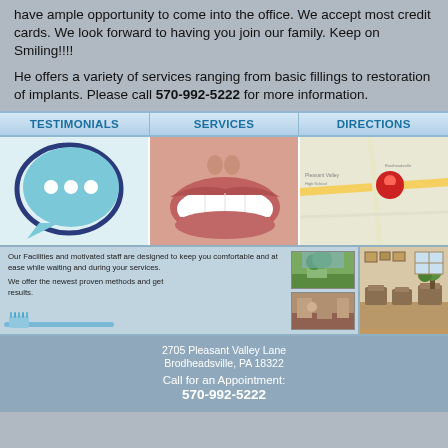have ample opportunity to come into the office. We accept most credit cards. We look forward to having you join our family. Keep on Smiling!!!!
He offers a variety of services ranging from basic fillings to restoration of implants. Please call 570-992-5222 for more information.
[Figure (infographic): Navigation bar with three sections: TESTIMONIALS, SERVICES, DIRECTIONS, each with an image below - chat bubble icon, smile/teeth photo, and map with pin]
[Figure (infographic): Facilities banner with text about facilities and staff, toothbrush image, two small photos of outdoor and indoor facility, and a large photo of waiting room interior]
2705 Pleasant Valley Lane
Brodheadsville, PA 18322
Call for an Appointment:
570-992-5222